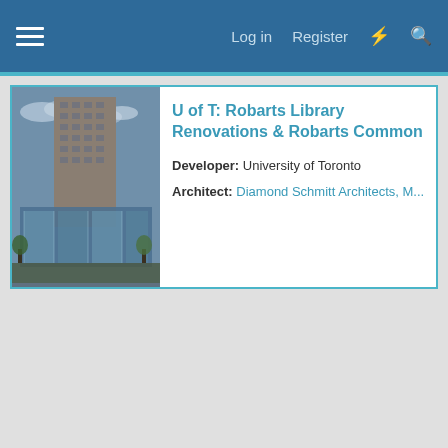Log in  Register
[Figure (photo): Architectural rendering of U of T Robarts Library renovation showing a modern glass addition to the existing brutalist concrete tower structure.]
U of T: Robarts Library Renovations & Robarts Common
Developer: University of Toronto
Architect: Diamond Schmitt Architects, M...